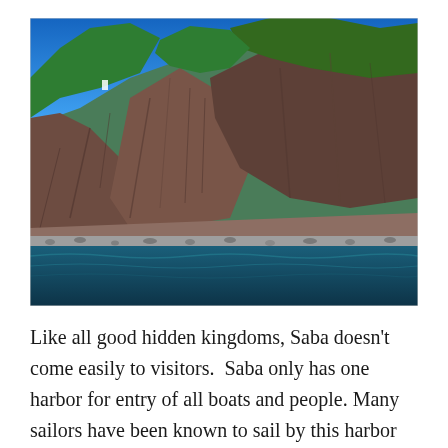[Figure (photo): Coastal cliff photograph showing steep rocky volcanic cliffs of Saba island with green vegetation at the top against a bright blue sky, and dark teal ocean water at the bottom with a rocky shoreline.]
Like all good hidden kingdoms, Saba doesn't come easily to visitors.  Saba only has one harbor for entry of all boats and people. Many sailors have been known to sail by this harbor and just keep going. It can have wild waves